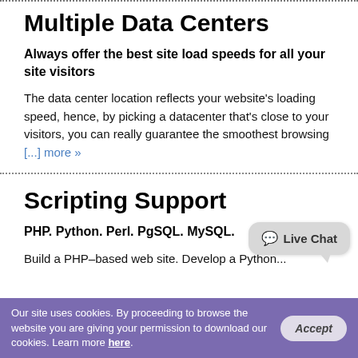Multiple Data Centers
Always offer the best site load speeds for all your site visitors
The data center location reflects your website's loading speed, hence, by picking a datacenter that's close to your visitors, you can really guarantee the smoothest browsing [...] more »
Scripting Support
PHP. Python. Perl. PgSQL. MySQL.
Build a PHP-based web site. Develop a Python...
[Figure (other): Live Chat speech bubble button in grey]
Our site uses cookies. By proceeding to browse the website you are giving your permission to download our cookies. Learn more here.